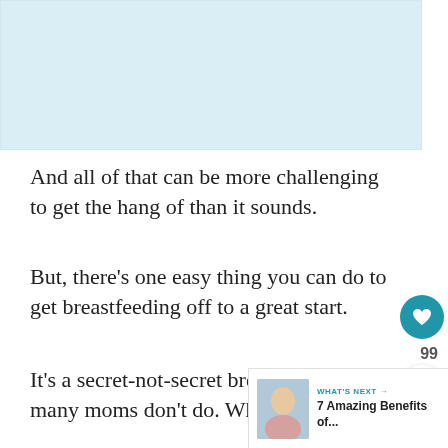[Figure (photo): Image area at top of page, light blue placeholder]
And all of that can be more challenging to get the hang of than it sounds.
But, there's one easy thing you can do to get breastfeeding off to a great start.
It's a secret-not-secret breastfeeding tip many moms don't do. What is it?